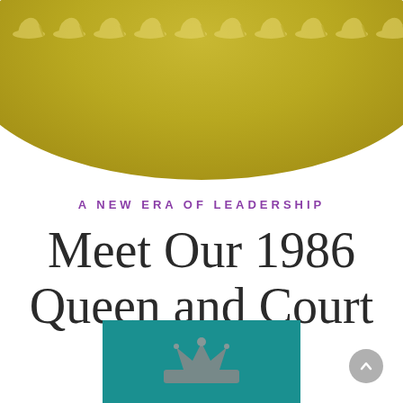[Figure (illustration): Top decorative banner with a large gold/olive-colored oval shape and a row of high-heel shoe silhouettes along the top edge]
A NEW ERA OF LEADERSHIP
Meet Our 1986 Queen and Court
[Figure (photo): Partial photo on teal/turquoise background showing a decorative crown or tiara at the bottom of the page]
[Figure (other): Gray circular scroll-to-top button in lower right corner]